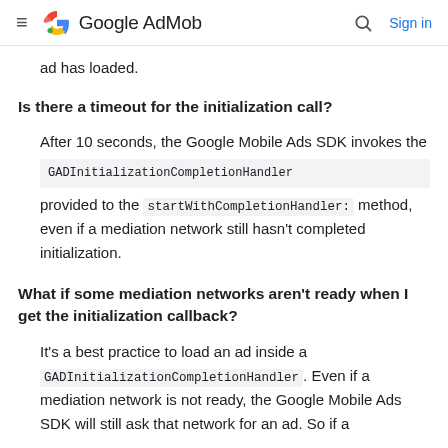Google AdMob
ad has loaded.
Is there a timeout for the initialization call?
After 10 seconds, the Google Mobile Ads SDK invokes the GADInitializationCompletionHandler provided to the startWithCompletionHandler: method, even if a mediation network still hasn't completed initialization.
What if some mediation networks aren't ready when I get the initialization callback?
It's a best practice to load an ad inside a GADInitializationCompletionHandler. Even if a mediation network is not ready, the Google Mobile Ads SDK will still ask that network for an ad. So if a